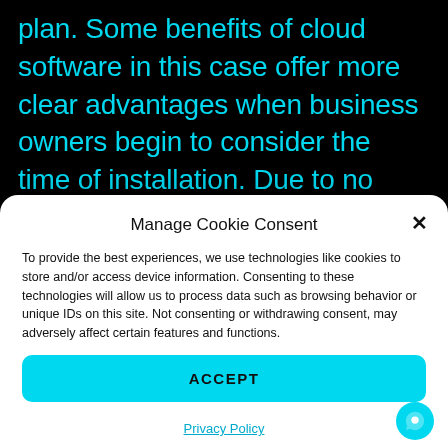plan. Some benefits of cloud software in this case offer more clear advantages when business owners begin to consider the time of installation. Due to no additional operating expenses, such as hardware, a cloud
Manage Cookie Consent
To provide the best experiences, we use technologies like cookies to store and/or access device information. Consenting to these technologies will allow us to process data such as browsing behavior or unique IDs on this site. Not consenting or withdrawing consent, may adversely affect certain features and functions.
ACCEPT
Privacy Policy